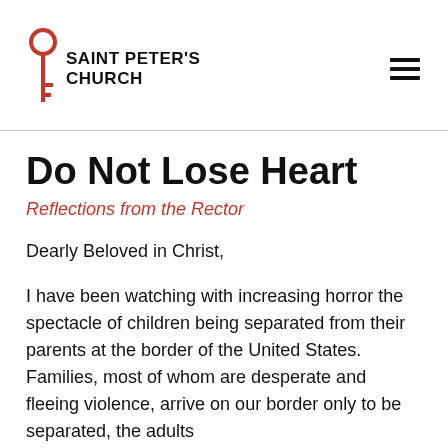SAINT PETER'S CHURCH
Do Not Lose Heart
Reflections from the Rector
Dearly Beloved in Christ,
I have been watching with increasing horror the spectacle of children being separated from their parents at the border of the United States. Families, most of whom are desperate and fleeing violence, arrive on our border only to be separated, the adults